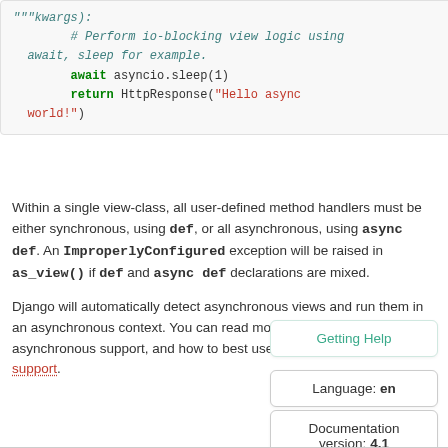[Figure (screenshot): Code block showing Python async view code with syntax highlighting. Lines include: **kwargs):, # Perform io-blocking view logic using await, sleep for example., await asyncio.sleep(1), return HttpResponse("Hello async world!")]
Within a single view-class, all user-defined method handlers must be either synchronous, using def, or all asynchronous, using async def. An ImproperlyConfigured exception will be raised in as_view() if def and async def declarations are mixed.
Django will automatically detect asynchronous views and run them in an asynchronous context. You can read more about Django's asynchronous support, and how to best use async w... Asynchronous support.
Getting Help
Language: en
Documentation version: 4.1